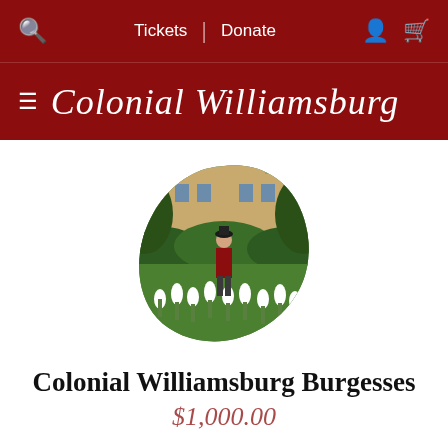Tickets | Donate
[Figure (logo): Colonial Williamsburg cursive logo on dark red background]
[Figure (photo): Person in colonial-era red coat standing among white tulips in a formal garden with brick building in background, displayed in blob/rounded shape]
Colonial Williamsburg Burgesses
$1,000.00